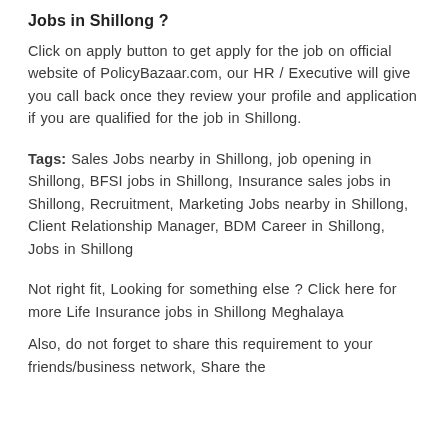Jobs in Shillong ?
Click on apply button to get apply for the job on official website of PolicyBazaar.com, our HR / Executive will give you call back once they review your profile and application if you are qualified for the job in Shillong.
Tags: Sales Jobs nearby in Shillong, job opening in Shillong, BFSI jobs in Shillong, Insurance sales jobs in Shillong, Recruitment, Marketing Jobs nearby in Shillong, Client Relationship Manager, BDM Career in Shillong, Jobs in Shillong
Not right fit, Looking for something else ? Click here for more Life Insurance jobs in Shillong Meghalaya
Also, do not forget to share this requirement to your friends/business network, Share the